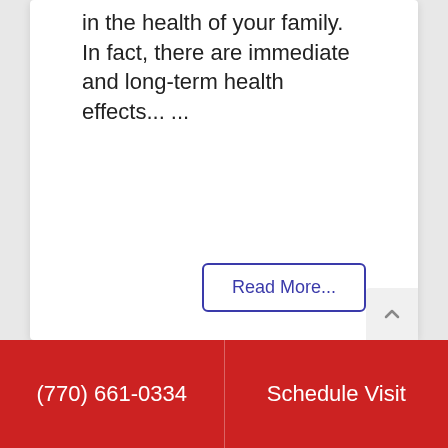in the health of your family. In fact, there are immediate and long-term health effects... ...
Read More...
[Figure (photo): Happy family of four (two adults and two children) sitting on a couch with arms raised in celebration, in a bright living room setting]
(770) 661-0334
Schedule Visit